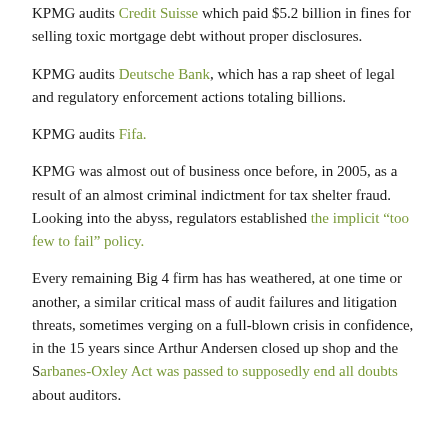KPMG audits Credit Suisse which paid $5.2 billion in fines for selling toxic mortgage debt without proper disclosures.
KPMG audits Deutsche Bank, which has a rap sheet of legal and regulatory enforcement actions totaling billions.
KPMG audits Fifa.
KPMG was almost out of business once before, in 2005, as a result of an almost criminal indictment for tax shelter fraud. Looking into the abyss, regulators established the implicit “too few to fail” policy.
Every remaining Big 4 firm has has weathered, at one time or another, a similar critical mass of audit failures and litigation threats, sometimes verging on a full-blown crisis in confidence, in the 15 years since Arthur Andersen closed up shop and the Sarbanes-Oxley Act was passed to supposedly end all doubts about auditors.